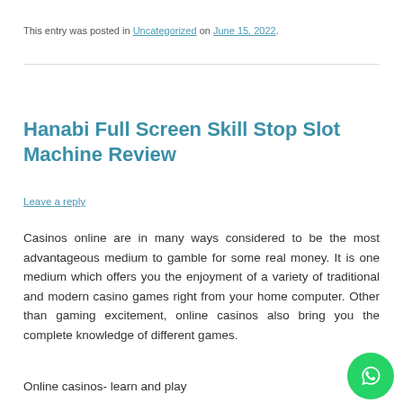This entry was posted in Uncategorized on June 15, 2022.
Hanabi Full Screen Skill Stop Slot Machine Review
Leave a reply
Casinos online are in many ways considered to be the most advantageous medium to gamble for some real money. It is one medium which offers you the enjoyment of a variety of traditional and modern casino games right from your home computer. Other than gaming excitement, online casinos also bring you the complete knowledge of different games.
Online casinos- learn and play